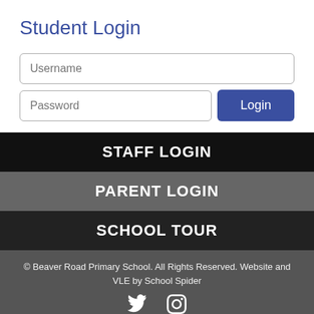Student Login
[Figure (screenshot): Student login form with Username input field, Password input field, and a Login button]
STAFF LOGIN
PARENT LOGIN
SCHOOL TOUR
© Beaver Road Primary School. All Rights Reserved. Website and VLE by School Spider